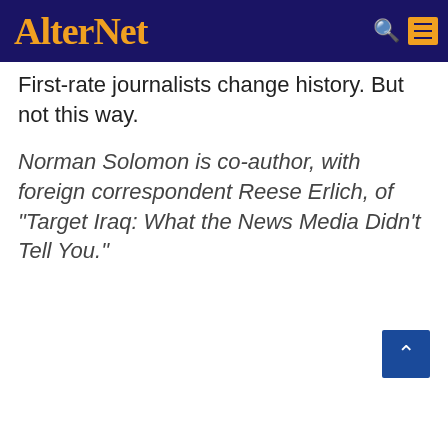AlterNet
First-rate journalists change history. But not this way.
Norman Solomon is co-author, with foreign correspondent Reese Erlich, of "Target Iraq: What the News Media Didn't Tell You."